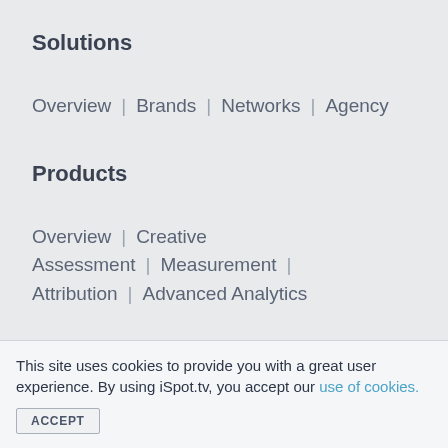Solutions
Overview | Brands | Networks | Agency
Products
Overview | Creative Assessment | Measurement | Attribution | Advanced Analytics
Ad Center
Top Ads | Top Spenders | Browse TV Ads |
This site uses cookies to provide you with a great user experience. By using iSpot.tv, you accept our use of cookies.
ACCEPT